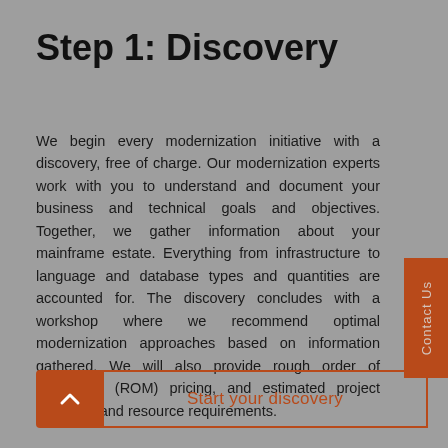Step 1: Discovery
We begin every modernization initiative with a discovery, free of charge. Our modernization experts work with you to understand and document your business and technical goals and objectives. Together, we gather information about your mainframe estate. Everything from infrastructure to language and database types and quantities are accounted for. The discovery concludes with a workshop where we recommend optimal modernization approaches based on information gathered. We will also provide rough order of magnitude (ROM) pricing, and estimated project durations and resource requirements.
Contact Us
Start your discovery